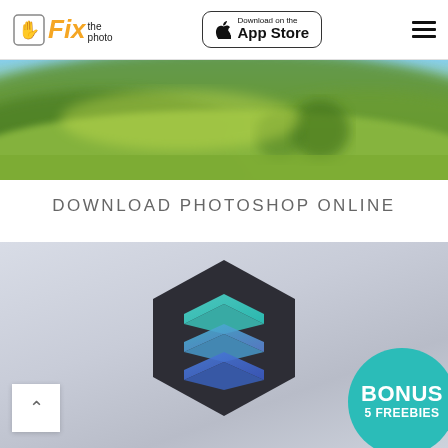Fix the Photo — Download on the App Store
[Figure (photo): Blurred green landscape photo with hills and bokeh effect]
DOWNLOAD PHOTOSHOP ONLINE
[Figure (screenshot): Skylum/Luminar app card with hexagonal logo showing layered teal-blue icon, and a teal circular badge reading BONUS 5 FREEBIES]